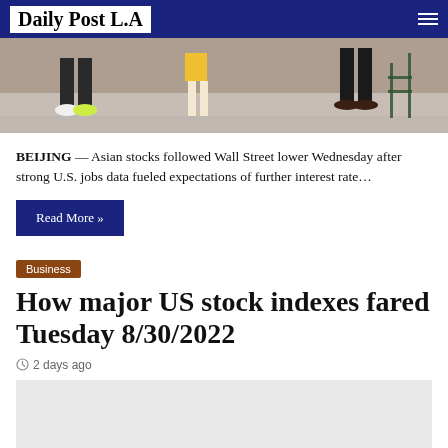Daily Post L.A
[Figure (photo): Cropped street-level photo showing legs and feet of people walking, one person wearing yellow shorts and green sneakers, another in dark trousers and leather shoes, on a paved surface with a green metal fence.]
BEIJING — Asian stocks followed Wall Street lower Wednesday after strong U.S. jobs data fueled expectations of further interest rate…
Read More »
Business
How major US stock indexes fared Tuesday 8/30/2022
2 days ago
[Figure (photo): Gray placeholder image area at bottom of page.]